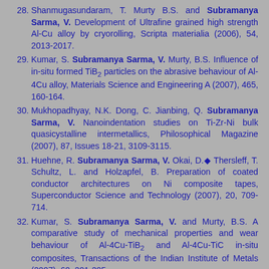28. Shanmugasundaram, T. Murty B.S. and Subramanya Sarma, V. Development of Ultrafine grained high strength Al-Cu alloy by cryorolling, Scripta materialia (2006), 54, 2013-2017.
29. Kumar, S. Subramanya Sarma, V. Murty, B.S. Influence of in-situ formed TiB2 particles on the abrasive behaviour of Al-4Cu alloy, Materials Science and Engineering A (2007), 465, 160-164.
30. Mukhopadhyay, N.K. Dong, C. Jianbing, Q. Subramanya Sarma, V. Nanoindentation studies on Ti-Zr-Ni bulk quasicystalline intermetallics, Philosophical Magazine (2007), 87, Issues 18-21, 3109-3115.
31. Huehne, R. Subramanya Sarma, V. Okai, D. Thersleff, T. Schultz, L. and Holzapfel, B. Preparation of coated conductor architectures on Ni composite tapes, Superconductor Science and Technology (2007), 20, 709-714.
32. Kumar, S. Subramanya Sarma, V. and Murty, B.S. A comparative study of mechanical properties and wear behaviour of Al-4Cu-TiB2 and Al-4Cu-TiC in-situ composites, Transactions of the Indian Institute of Metals (2007), 60, 201-205.
33. Subramanya Sarma, V. Eickemeyer, J. Schultz, L. and Holzapfel, B. Rolling and recrystallisation